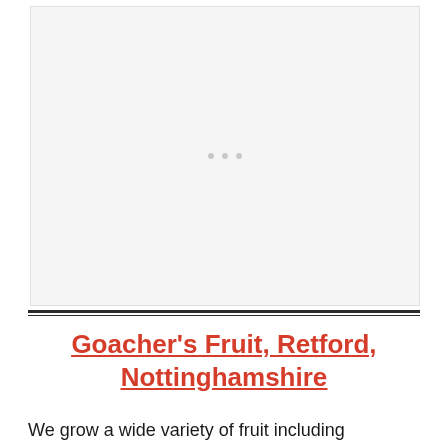[Figure (photo): Image placeholder area with light gray background and three small gray dots in center]
Goacher's Fruit, Retford, Nottinghamshire
We grow a wide variety of fruit including